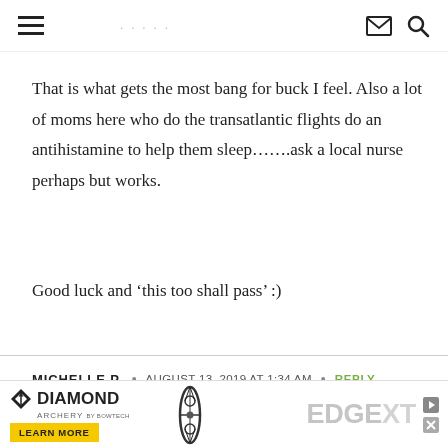Navigation header with hamburger menu, mail icon, and search icon
That is what gets the most bang for buck I feel. Also a lot of moms here who do the transatlantic flights do an antihistamine to help them sleep…….ask a local nurse perhaps but works.
Good luck and ‘this too shall pass’ :)
MICHELLE P.  •  AUGUST 13, 2019 AT 1:34 AM  •  REPLY
[Figure (other): Diamond Archery advertisement banner showing logo with diamond arrow icon, LEARN MORE button in yellow, a compound bow image, and EDGE XT text in gray]